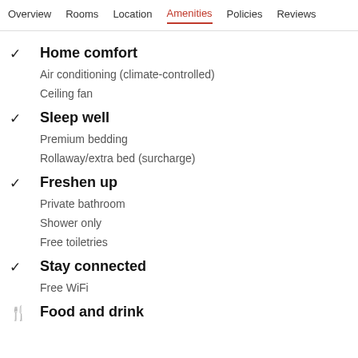Overview  Rooms  Location  Amenities  Policies  Reviews
Home comfort
Air conditioning (climate-controlled)
Ceiling fan
Sleep well
Premium bedding
Rollaway/extra bed (surcharge)
Freshen up
Private bathroom
Shower only
Free toiletries
Stay connected
Free WiFi
Food and drink